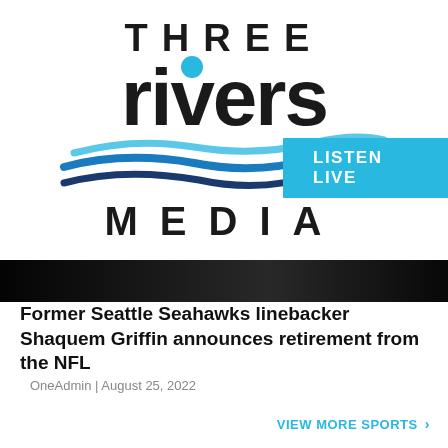[Figure (logo): Three Rivers Media logo with blue dot above 'r', wave design in blue and dark blue, and MEDIA text in spaced black letters]
LISTEN LIVE
[Figure (photo): Photo strip showing partial view of Seattle Seahawks players]
Former Seattle Seahawks linebacker Shaquem Griffin announces retirement from the NFL
OneAdmin | August 25, 2022
VIEW MORE SPORTS >